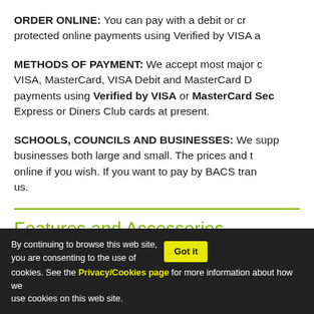ORDER ONLINE: You can pay with a debit or cr protected online payments using Verified by VISA a
METHODS OF PAYMENT: We accept most major c VISA, MasterCard, VISA Debit and MasterCard D payments using Verified by VISA or MasterCard Sec Express or Diners Club cards at present.
SCHOOLS, COUNCILS AND BUSINESSES: We supp businesses both large and small. The prices and t online if you wish. If you want to pay by BACS tran us.
Features and Accessories
By continuing to browse this web site, you are consenting to the use of cookies. See the Privacy/Cookies page for more information about how we use cookies on this web site.